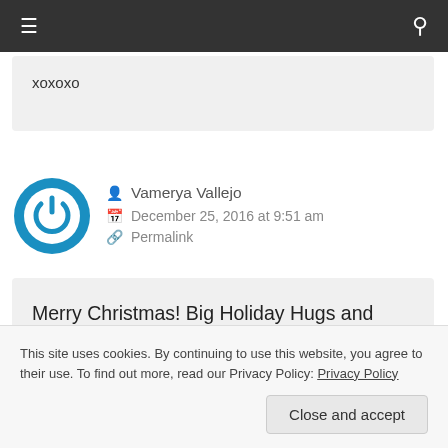☰  🔍
xoxoxo
Vamerya Vallejo
December 25, 2016 at 9:51 am
Permalink
Merry Christmas! Big Holiday Hugs and much goodwill to you and yours. Thanks for the info!
This site uses cookies. By continuing to use this website, you agree to their use. To find out more, read our Privacy Policy: Privacy Policy
Close and accept